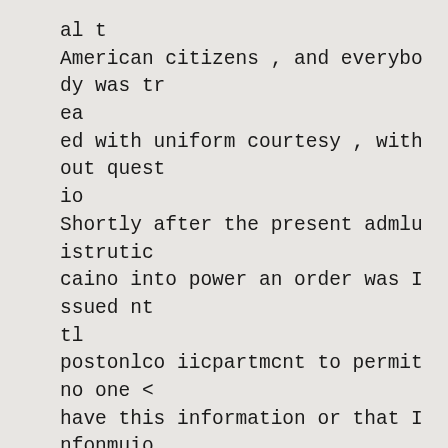al t
American citizens , and everybody was trea
ed with uniform courtesy , without questio
Shortly after the present admluistrutic
caino into power an order was Issued nt
tl
postonlco iicpartmcnt to permit no one <
have this information or that Infonmuio
and gradually the avenues which had bee
for so many years open to the miblic rel
utii
to the appointments of postmasters , the
bom
of postmasters , changes In locations of
pos
ofllces , removals , appointments , and
so fort
were closed and were Hermetically sealo